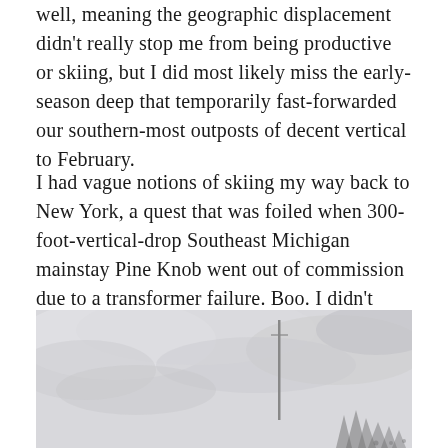well, meaning the geographic displacement didn't really stop me from being productive or skiing, but I did most likely miss the early-season deep that temporarily fast-forwarded our southern-most outposts of decent vertical to February.
I had vague notions of skiing my way back to New York, a quest that was foiled when 300-foot-vertical-drop Southeast Michigan mainstay Pine Knob went out of commission due to a transformer failure. Boo. I didn't realize this until I pulled in for an evening session and found empty parking lots:
[Figure (photo): Outdoor winter scene with an overcast grey sky. A tall thin pole or tower is visible near the center-right of the image. Trees are faintly visible at the bottom right against the pale grey sky. The scene appears to be an empty parking lot or ski area.]